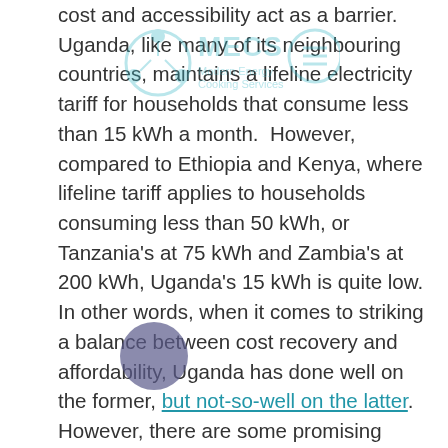[Figure (logo): MECS Modern Energy Cooking Services watermark logo with circular icon elements in teal/blue]
cost and accessibility act as a barrier. Uganda, like many of its neighbouring countries, maintains a lifeline electricity tariff for households that consume less than 15 kWh a month.  However, compared to Ethiopia and Kenya, where lifeline tariff applies to households consuming less than 50 kWh, or Tanzania's at 75 kWh and Zambia's at 200 kWh, Uganda's 15 kWh is quite low. In other words, when it comes to striking a balance between cost recovery and affordability, Uganda has done well on the former, but not-so-well on the latter. However, there are some promising starts:  The National Energy Policy Bill (currently in draft stage) is outlines a plan to create an enabling framework to incentivise households switching from